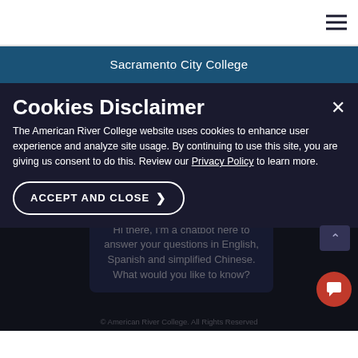≡ (hamburger menu icon)
Sacramento City College
Accreditation
Consumer Information
Cookies Disclaimer
The American River College website uses cookies to enhance user experience and analyze site usage. By continuing to use this site, you are giving us consent to do this. Review our Privacy Policy to learn more.
ACCEPT AND CLOSE
Hi there, I'm a chatbot here to answer your questions in English, Spanish and simplified Chinese. What would you like to know?
© American River College. All Rights Reserved